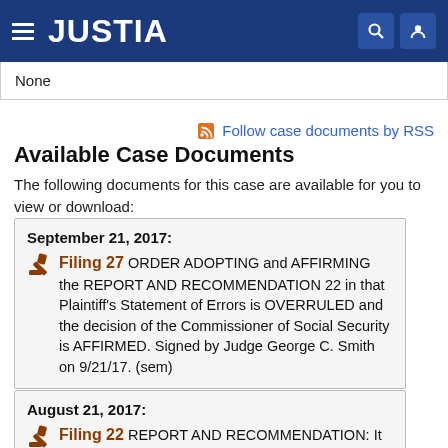JUSTIA
None
Follow case documents by RSS
Available Case Documents
The following documents for this case are available for you to view or download:
September 21, 2017: Filing 27 ORDER ADOPTING and AFFIRMING the REPORT AND RECOMMENDATION 22 in that Plaintiff's Statement of Errors is OVERRULED and the decision of the Commissioner of Social Security is AFFIRMED. Signed by Judge George C. Smith on 9/21/17. (sem)
August 21, 2017: Filing 22 REPORT AND RECOMMENDATION: It is